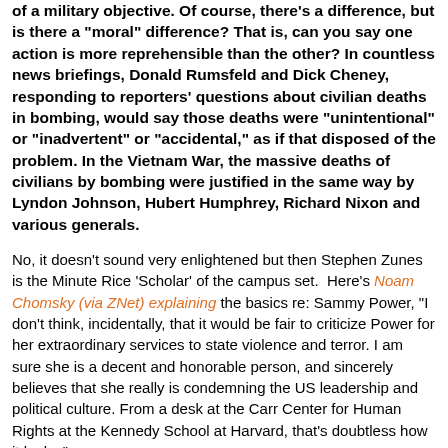of a military objective. Of course, there's a difference, but is there a "moral" difference? That is, can you say one action is more reprehensible than the other? In countless news briefings, Donald Rumsfeld and Dick Cheney, responding to reporters' questions about civilian deaths in bombing, would say those deaths were "unintentional" or "inadvertent" or "accidental," as if that disposed of the problem. In the Vietnam War, the massive deaths of civilians by bombing were justified in the same way by Lyndon Johnson, Hubert Humphrey, Richard Nixon and various generals.
No, it doesn't sound very enlightened but then Stephen Zunes is the Minute Rice 'Scholar' of the campus set.  Here's Noam Chomsky (via ZNet) explaining the basics re: Sammy Power, "I don't think, incidentally, that it would be fair to criticize Power for her extraordinary services to state violence and terror. I am sure she is a decent and honorable person, and sincerely believes that she really is condemning the US leadership and political culture. From a desk at the Carr Center for Human Rights at the Kennedy School at Harvard, that's doubtless how it looks."